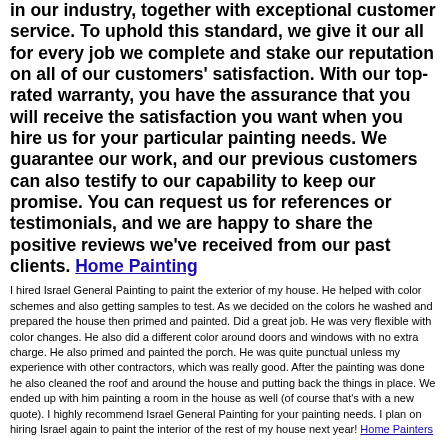in our industry, together with exceptional customer service. To uphold this standard, we give it our all for every job we complete and stake our reputation on all of our customers' satisfaction. With our top-rated warranty, you have the assurance that you will receive the satisfaction you want when you hire us for your particular painting needs. We guarantee our work, and our previous customers can also testify to our capability to keep our promise. You can request us for references or testimonials, and we are happy to share the positive reviews we've received from our past clients. Home Painting
I hired Israel General Painting to paint the exterior of my house. He helped with color schemes and also getting samples to test. As we decided on the colors he washed and prepared the house then primed and painted. Did a great job. He was very flexible with color changes. He also did a different color around doors and windows with no extra charge. He also primed and painted the porch. He was quite punctual unless my experience with other contractors, which was really good. After the painting was done he also cleaned the roof and around the house and putting back the things in place. We ended up with him painting a room in the house as well (of course that's with a new quote). I highly recommend Israel General Painting for your painting needs. I plan on hiring Israel again to paint the interior of the rest of my house next year! Home Painters
Undoubtedly, you must be looking for a painting contractor that will meet your expectations. And that is